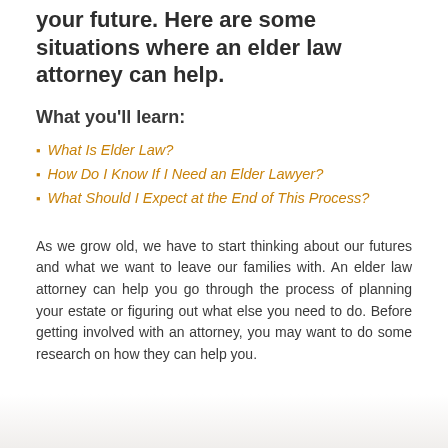your future. Here are some situations where an elder law attorney can help.
What you'll learn:
What Is Elder Law?
How Do I Know If I Need an Elder Lawyer?
What Should I Expect at the End of This Process?
As we grow old, we have to start thinking about our futures and what we want to leave our families with. An elder law attorney can help you go through the process of planning your estate or figuring out what else you need to do. Before getting involved with an attorney, you may want to do some research on how they can help you.